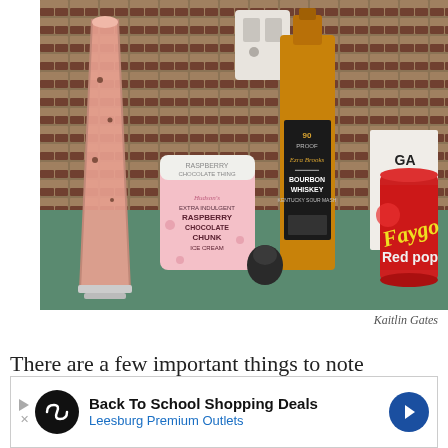[Figure (photo): A pink raspberry chocolate chunk milkshake in a tall pilsner glass, next to Hudson's Extra Indulgent Raspberry Chocolate Chunk ice cream container, a bottle of Ezra Brooks Bourbon Whiskey Kentucky Sour Mash, and a can of Faygo Red Pop, all sitting on a kitchen counter with a tile backsplash]
Kaitlin Gates
There are a few important things to note
[Figure (other): Advertisement banner: Back To School Shopping Deals - Leesburg Premium Outlets]